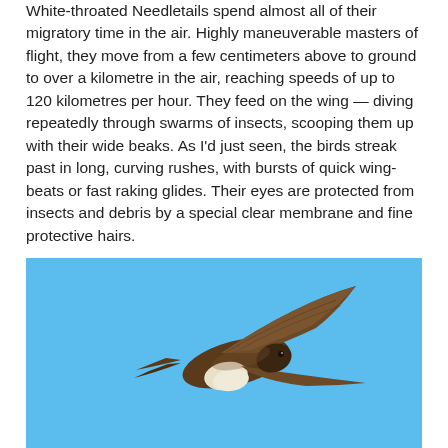White-throated Needletails spend almost all of their migratory time in the air. Highly maneuverable masters of flight, they move from a few centimeters above to ground to over a kilometre in the air, reaching speeds of up to 120 kilometres per hour. They feed on the wing — diving repeatedly through swarms of insects, scooping them up with their wide beaks. As I'd just seen, the birds streak past in long, curving rushes, with bursts of quick wing-beats or fast raking glides. Their eyes are protected from insects and debris by a special clear membrane and fine protective hairs.
[Figure (photo): A White-throated Needletail bird photographed in flight against a clear blue sky, showing its underside with distinctive white throat patch and dark brown body, wings swept back in a swift gliding posture.]